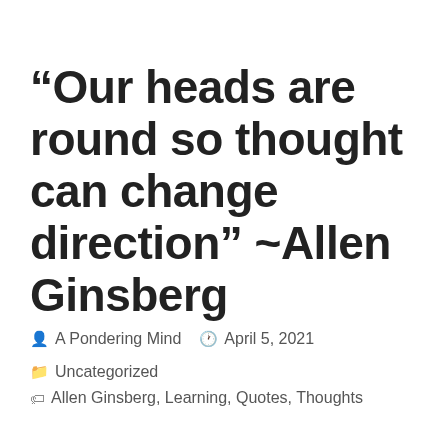“Our heads are round so thought can change direction” ~Allen Ginsberg
A Pondering Mind   April 5, 2021   Uncategorized   Allen Ginsberg, Learning, Quotes, Thoughts